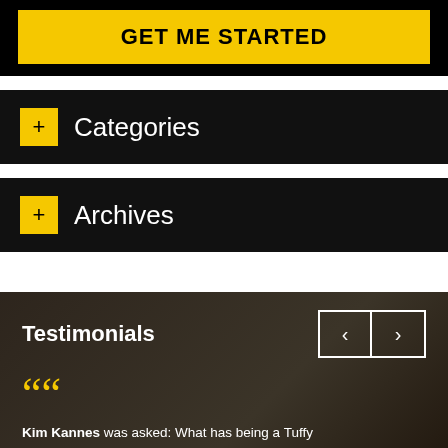[Figure (other): Yellow GET ME STARTED button on black background]
+ Categories
+ Archives
Testimonials
Kim Kannes was asked: What has being a Tuffy